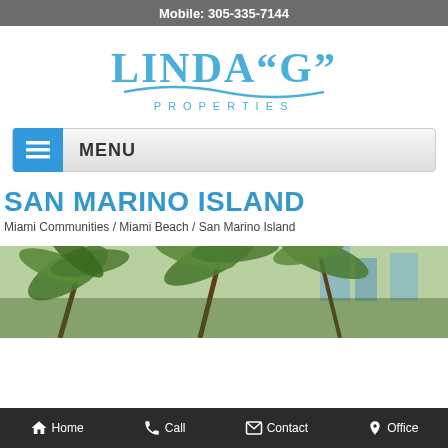Mobile: 305-335-7144
[Figure (logo): Linda 'G' Properties logo with stylized text and wave graphic in blue]
MENU
SAN MARINO ISLAND
Miami Communities / Miami Beach / San Marino Island
[Figure (photo): Outdoor tropical scene with palm trees and buildings in the background]
Home  Call  Contact  Office